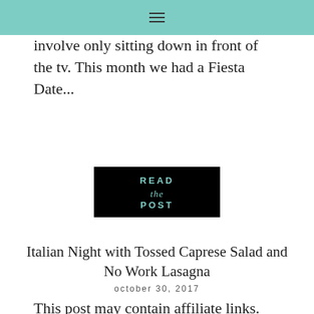☰
involve only sitting down in front of the tv. This month we had a Fiesta Date...
[Figure (other): Black button with teal text reading READ the POST]
Italian Night with Tossed Caprese Salad and No Work Lasagna
october 30, 2017
This post may contain affiliate links. Please see my full Disclosure Policy